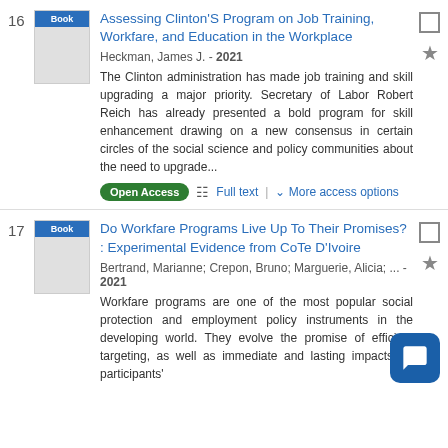16. Assessing Clinton'S Program on Job Training, Workfare, and Education in the Workplace. Heckman, James J. - 2021. The Clinton administration has made job training and skill upgrading a major priority. Secretary of Labor Robert Reich has already presented a bold program for skill enhancement drawing on a new consensus in certain circles of the social science and policy communities about the need to upgrade...
17. Do Workfare Programs Live Up To Their Promises? : Experimental Evidence from CoTe D'Ivoire. Bertrand, Marianne; Crepon, Bruno; Marguerie, Alicia; ... - 2021. Workfare programs are one of the most popular social protection and employment policy instruments in the developing world. They evolve the promise of efficient targeting, as well as immediate and lasting impacts on participants'